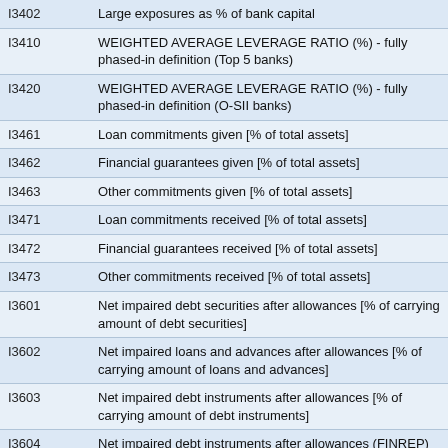| Code | Description |
| --- | --- |
| I3402 | Large exposures as % of bank capital |
| I3410 | WEIGHTED AVERAGE LEVERAGE RATIO (%) - fully phased-in definition (Top 5 banks) |
| I3420 | WEIGHTED AVERAGE LEVERAGE RATIO (%) - fully phased-in definition (O-SII banks) |
| I3461 | Loan commitments given [% of total assets] |
| I3462 | Financial guarantees given [% of total assets] |
| I3463 | Other commitments given [% of total assets] |
| I3471 | Loan commitments received [% of total assets] |
| I3472 | Financial guarantees received [% of total assets] |
| I3473 | Other commitments received [% of total assets] |
| I3601 | Net impaired debt securities after allowances [% of carrying amount of debt securities] |
| I3602 | Net impaired loans and advances after allowances [% of carrying amount of loans and advances] |
| I3603 | Net impaired debt instruments after allowances [% of carrying amount of debt instruments] |
| I3604 | Net impaired debt instruments after allowances (FINREP) [% of own funds (full sample)] |
| I3605 | Gross impaired debt instruments [% of gross carrying amount of debt instruments] |
| I3606 | Gross impaired loans and advances [% of gross carrying |